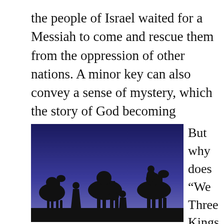the people of Israel waited for a Messiah to come and rescue them from the oppression of other nations. A minor key can also convey a sense of mystery, which the story of God becoming human certainly contains.
[Figure (photo): Silhouette of three camels and figures (two walking, two riding) against a deep blue twilight desert sky, reminiscent of the Three Wise Men / Three Kings scene.]
But why does “We Three Kings” mix the minor -like